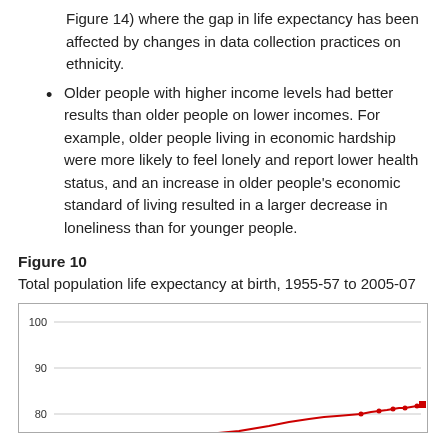Figure 14) where the gap in life expectancy has been affected by changes in data collection practices on ethnicity.
Older people with higher income levels had better results than older people on lower incomes. For example, older people living in economic hardship were more likely to feel lonely and report lower health status, and an increase in older people's economic standard of living resulted in a larger decrease in loneliness than for younger people.
Figure 10
Total population life expectancy at birth, 1955-57 to 2005-07
[Figure (line-chart): Line chart showing life expectancy at birth rising from around 70 in 1955-57 to around 80 in 2005-07. Y-axis shows values 80, 90, 100. Chart is partially visible, cut off at bottom.]